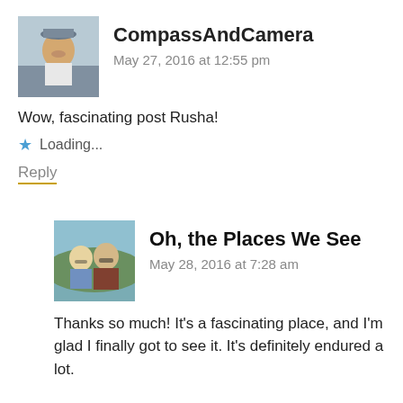[Figure (photo): Avatar photo of CompassAndCamera commenter: woman wearing a hat outdoors near airport]
CompassAndCamera
May 27, 2016 at 12:55 pm
Wow, fascinating post Rusha!
Loading...
Reply
[Figure (photo): Avatar photo of Oh the Places We See commenter: man and woman wearing sunglasses outdoors]
Oh, the Places We See
May 28, 2016 at 7:28 am
Thanks so much! It's a fascinating place, and I'm glad I finally got to see it. It's definitely endured a lot.